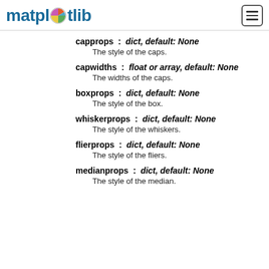matplotlib
capprops : dict, default: None
The style of the caps.
capwidths : float or array, default: None
The widths of the caps.
boxprops : dict, default: None
The style of the box.
whiskerprops : dict, default: None
The style of the whiskers.
flierprops : dict, default: None
The style of the fliers.
medianprops : dict, default: None
The style of the median.